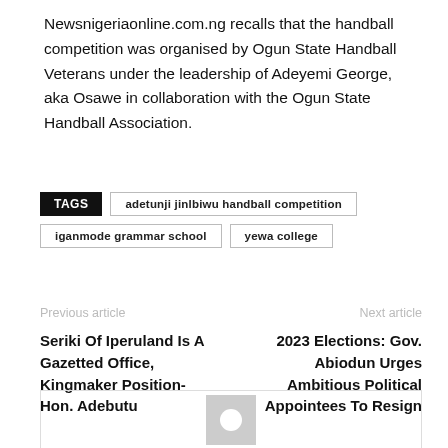Newsnigeriaonline.com.ng recalls that the handball competition was organised by Ogun State Handball Veterans under the leadership of Adeyemi George, aka Osawe in collaboration with the Ogun State Handball Association.
TAGS: adetunji jinlbiwu handball competition | iganmode grammar school | yewa college
Previous article | Next article
Seriki Of Iperuland Is A Gazetted Office, Kingmaker Position- Hon. Adebutu
2023 Elections: Gov. Abiodun Urges Ambitious Political Appointees To Resign
[Figure (photo): Author avatar placeholder with grey background and white circle icon]